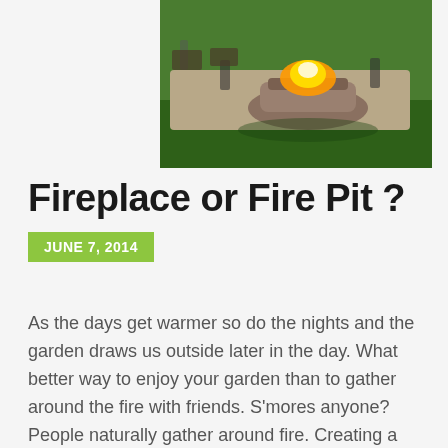[Figure (photo): Outdoor stone fire pit with people sitting around it at dusk, green lawn in background, patio furniture visible]
Fireplace or Fire Pit ?
JUNE 7, 2014
As the days get warmer so do the nights and the garden draws us outside later in the day. What better way to enjoy your garden than to gather around the fire with friends. S'mores anyone? People naturally gather around fire. Creating a gathering space defines an area as an outdoor room. Both fire pits… Read more >